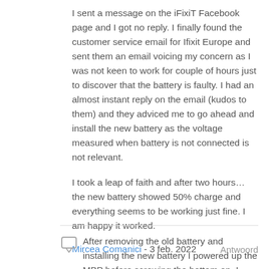I sent a message on the iFixiT Facebook page and I got no reply. I finally found the customer service email for Ifixit Europe and sent them an email voicing my concern as I was not keen to work for couple of hours just to discover that the battery is faulty. I had an almost instant reply on the email (kudos to them) and they adviced me to go ahead and install the new battery as the voltage measured when battery is not connected is not relevant.
I took a leap of faith and after two hours… the new battery showed 50% charge and everything seems to be working just fine. I am happy it worked.
Mircea Comanici - 3 feb. 2022   Antwoord
After removing the old battery and installing the new battery I powered up the MBP before screwing the bottom on. I discovered the my keyboard would not function. It took a few hours of investigation and frustration that I discovered the track pad power ribbon had become partially dislodged from